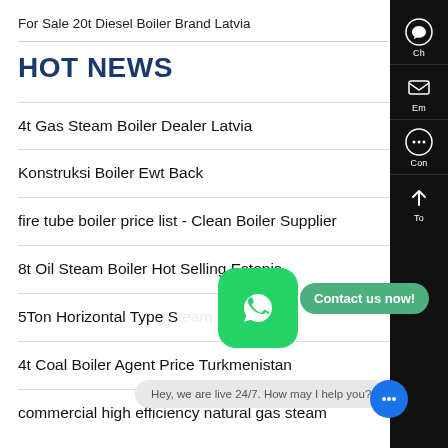For Sale 20t Diesel Boiler Brand Latvia
HOT NEWS
4t Gas Steam Boiler Dealer Latvia
Konstruksi Boiler Ewt Back
fire tube boiler price list - Clean Boiler Supplier
8t Oil Steam Boiler Hot Selling Estonia
5Ton Horizontal Type S... Boiler
4t Coal Boiler Agent Price Turkmenistan
commercial high efficiency natural gas steam